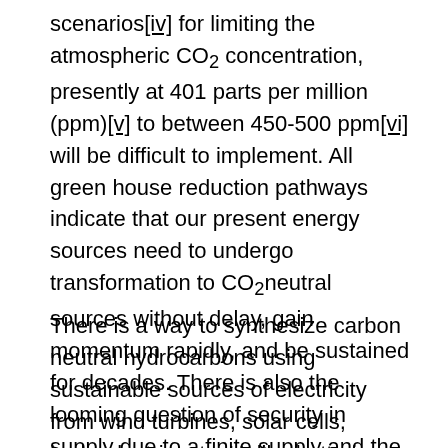scenarios[iv] for limiting the atmospheric CO2 concentration, presently at 401 parts per million (ppm)[v] to between 450-500 ppm[vi] will be difficult to implement. All green house reduction pathways indicate that our present energy sources need to undergo transformation to CO2neutral sources without delay, gain momentum rapidly, and be sustained for decades. There is also the looming question of security in supply due to a finite supply and the geographical locations of major reserves of oil and gas.
There is a way to synthesize carbon neutral hydrocarbons using sustainable sources of electricity from wind turbines, solar cells, hydroelectric, etc. Unlike batteries which are